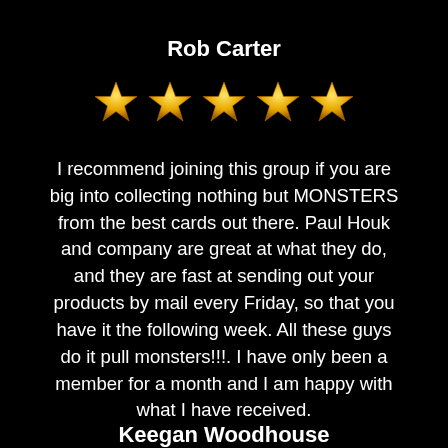Rob Carter
[Figure (other): Five gold stars rating]
I recommend joining this group if you are big into collecting nothing but MONSTERS from the best cards out there. Paul Houk and company are great at what they do, and they are fast at sending out your products by mail every Friday, so that you have it the following week. All these guys do it pull monsters!!!. I have only been a member for a month and I am happy with what I have received.
Keegan Woodhouse